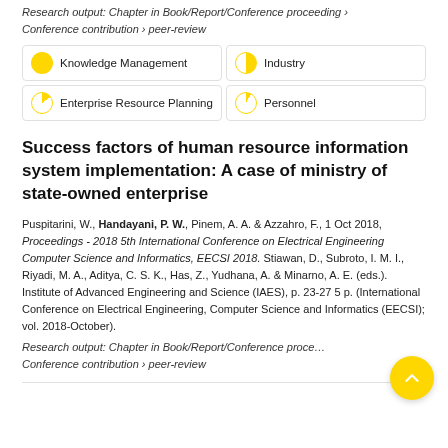Research output: Chapter in Book/Report/Conference proceeding › Conference contribution › peer-review
[Figure (infographic): Four keyword badge tiles in a 2x2 grid: Knowledge Management (full yellow circle), Industry (half yellow circle), Enterprise Resource Planning (small yellow slice), Personnel (tiny yellow slice)]
Success factors of human resource information system implementation: A case of ministry of state-owned enterprise
Puspitarini, W., Handayani, P. W., Pinem, A. A. & Azzahro, F., 1 Oct 2018, Proceedings - 2018 5th International Conference on Electrical Engineering Computer Science and Informatics, EECSI 2018. Stiawan, D., Subroto, I. M. I., Riyadi, M. A., Aditya, C. S. K., Has, Z., Yudhana, A. & Minarno, A. E. (eds.). Institute of Advanced Engineering and Science (IAES), p. 23-27 5 p. (International Conference on Electrical Engineering, Computer Science and Informatics (EECSI); vol. 2018-October).
Research output: Chapter in Book/Report/Conference proceeding › Conference contribution › peer-review